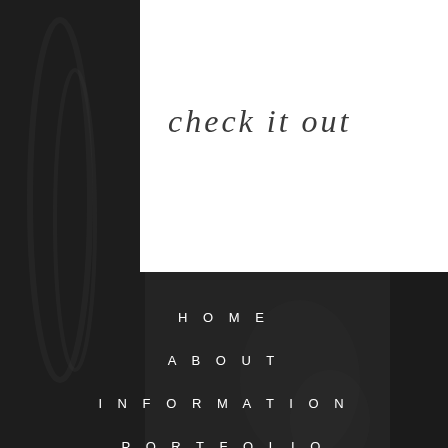[Figure (photo): Dark background photo showing a person with accessories, partially obscured, with dark overlay. A white rectangular card overlays the upper-center portion.]
check it out
HOME
ABOUT
INFORMATION
PORTFOLIO